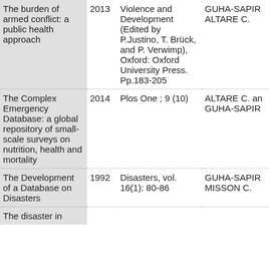| Title | Year | Publication | Authors |
| --- | --- | --- | --- |
| The burden of armed conflict: a public health approach | 2013 | Violence and Development (Edited by P.Justino, T. Brück, and P. Verwimp), Oxford: Oxford University Press. Pp.183-205 | GUHA-SAPIR ALTARE C. |
| The Complex Emergency Database: a global repository of small-scale surveys on nutrition, health and mortality | 2014 | Plos One ; 9 (10) | ALTARE C. and GUHA-SAPIR |
| The Development of a Database on Disasters | 1992 | Disasters, vol. 16(1): 80-86 | GUHA-SAPIR MISSON C. |
| The disaster in |  |  |  |